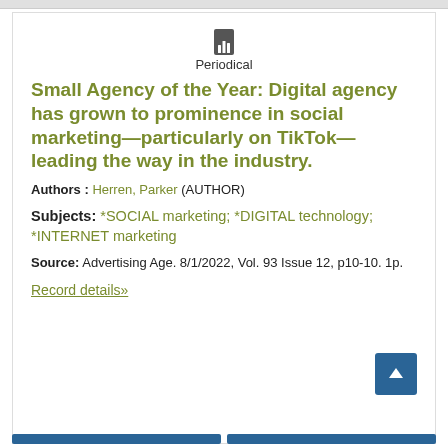Periodical
Small Agency of the Year: Digital agency has grown to prominence in social marketing—particularly on TikTok—leading the way in the industry.
Authors : Herren, Parker (AUTHOR)
Subjects: *SOCIAL marketing; *DIGITAL technology; *INTERNET marketing
Source: Advertising Age. 8/1/2022, Vol. 93 Issue 12, p10-10. 1p.
Record details»